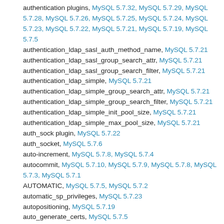authentication plugins, MySQL 5.7.32, MySQL 5.7.29, MySQL 5.7.28, MySQL 5.7.26, MySQL 5.7.25, MySQL 5.7.24, MySQL 5.7.23, MySQL 5.7.22, MySQL 5.7.21, MySQL 5.7.19, MySQL 5.7.5
authentication_ldap_sasl_auth_method_name, MySQL 5.7.21
authentication_ldap_sasl_group_search_attr, MySQL 5.7.21
authentication_ldap_sasl_group_search_filter, MySQL 5.7.21
authentication_ldap_simple, MySQL 5.7.21
authentication_ldap_simple_group_search_attr, MySQL 5.7.21
authentication_ldap_simple_group_search_filter, MySQL 5.7.21
authentication_ldap_simple_init_pool_size, MySQL 5.7.21
authentication_ldap_simple_max_pool_size, MySQL 5.7.21
auth_sock plugin, MySQL 5.7.22
auth_socket, MySQL 5.7.6
auto-increment, MySQL 5.7.8, MySQL 5.7.4
autocommit, MySQL 5.7.10, MySQL 5.7.9, MySQL 5.7.8, MySQL 5.7.3, MySQL 5.7.1
AUTOMATIC, MySQL 5.7.5, MySQL 5.7.2
automatic_sp_privileges, MySQL 5.7.23
autopositioning, MySQL 5.7.19
auto_generate_certs, MySQL 5.7.5
AUTO_GEN_CLUST_INDEX, MySQL 5.7.6
AUTO_INCREMENT, MySQL 5.7.10, MySQL 5.7.8, MySQL 5.7...